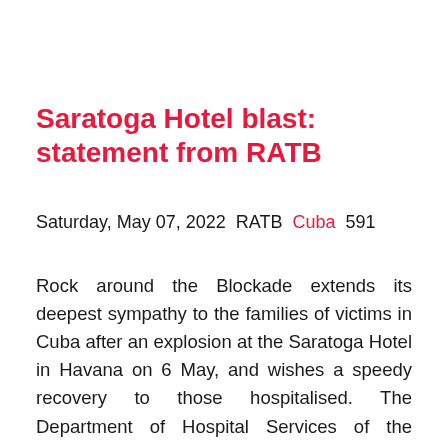Saratoga Hotel blast: statement from RATB
Saturday, May 07, 2022  RATB  Cuba  591
Rock around the Blockade extends its deepest sympathy to the families of victims in Cuba after an explosion at the Saratoga Hotel in Havana on 6 May, and wishes a speedy recovery to those hospitalised. The Department of Hospital Services of the Ministry of Public Health says that at least 26 people have died and